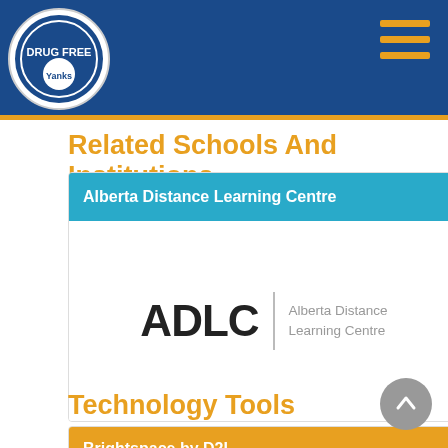Related Schools And Institutions
[Figure (logo): Alberta Distance Learning Centre card with cyan header and ADLC logo]
Technology Tools
[Figure (other): Brightspace by D2L card with orange header]